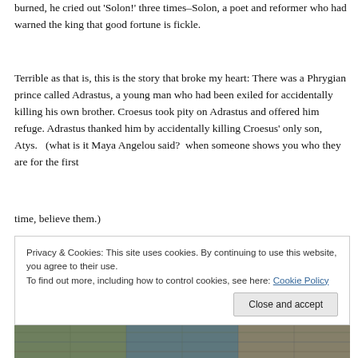burned, he cried out 'Solon!' three times–Solon, a poet and reformer who had warned the king that good fortune is fickle.
Terrible as that is, this is the story that broke my heart: There was a Phrygian prince called Adrastus, a young man who had been exiled for accidentally killing his own brother. Croesus took pity on Adrastus and offered him refuge. Adrastus thanked him by accidentally killing Croesus' only son, Atys.   (what is it Maya Angelou said?  when someone shows you who they are for the first time, believe them.)
Privacy & Cookies: This site uses cookies. By continuing to use this website, you agree to their use.
To find out more, including how to control cookies, see here: Cookie Policy
[Figure (photo): Partial view of an artistic or textured image at the bottom of the page, appearing to show illustrated or carved figures with blue-green tones.]